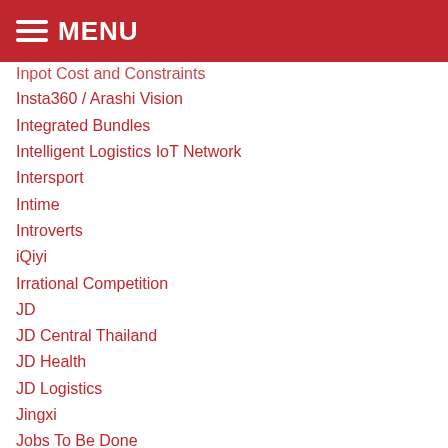MENU
Inpot Cost and Constraints
Insta360 / Arashi Vision
Integrated Bundles
Intelligent Logistics IoT Network
Intersport
Intime
Introverts
iQiyi
Irrational Competition
JD
JD Central Thailand
JD Health
JD Logistics
Jingxi
Jobs To Be Done
Jorge Lemann / 3G Capital
Joy Spreader
Juhuasuan
KE Holdings / Beike / Lianjia
Keith Meister / Corvex